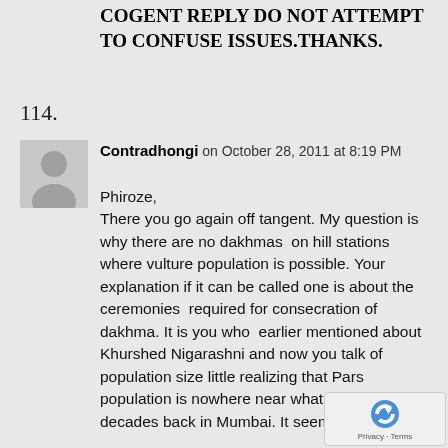COGENT REPLY DO NOT ATTEMPT TO CONFUSE ISSUES.THANKS.
114.
[Figure (illustration): Default user avatar icon — gray silhouette of a person on a lighter gray square background]
Contradhongi on October 28, 2011 at 8:19 PM
Phiroze,
There you go again off tangent. My question is why there are no dakhmas on hill stations where vulture population is possible. Your explanation if it can be called one is about the ceremonies required for consecration of dakhma. It is you who earlier mentioned about Khurshed Nigarashni and now you talk of population size little realizing that Parsi population is nowhere near what it was three decades back in Mumbai. It seems